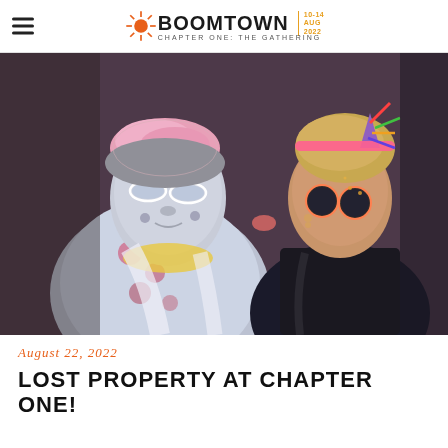BOOMTOWN | CHAPTER ONE: THE GATHERING | 10-14 AUG 2022
[Figure (photo): Two festival-goers in elaborate costumes and face paint at Boomtown festival. The person on the left has white/grey face paint, pink fluffy hair accessories, tinted glasses, and a floral robe. The person on the right is kissing their cheek and wearing a unicorn horn headband with colorful accessories and sunglasses.]
August 22, 2022
LOST PROPERTY AT CHAPTER ONE!